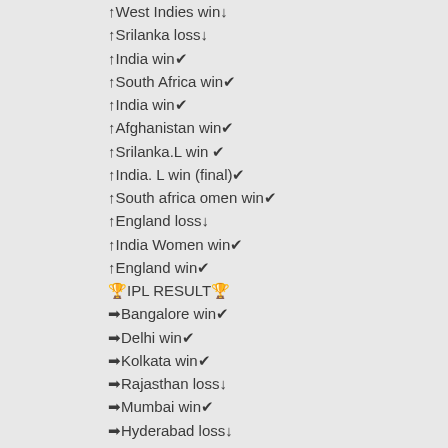↑West Indies win↓
↑Srilanka loss↓
↑India win✔
↑South Africa win✔
↑India win✔
↑Afghanistan win✔
↑Srilanka.L win ✔
↑India. L win (final)✔
↑South africa omen win✔
↑England loss↓
↑India Women win✔
↑England win✔
🏆IPL RESULT🏆
➡Bangalore win✔
➡Delhi win✔
➡Kolkata win✔
➡Rajasthan loss↓
➡Mumbai win✔
➡Hyderabad loss↓
➡Rajasthan win ✔
➡Chennai win✔
➡Hyderabad loss↓
➡Bangalori win✔